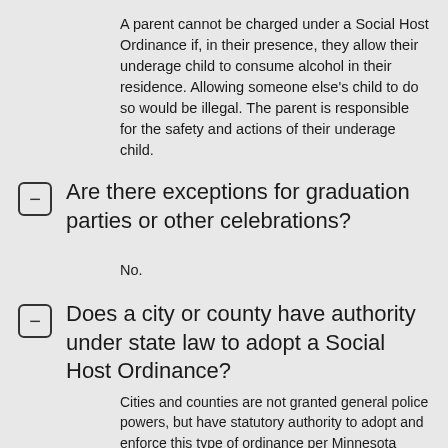A parent cannot be charged under a Social Host Ordinance if, in their presence, they allow their underage child to consume alcohol in their residence. Allowing someone else's child to do so would be illegal. The parent is responsible for the safety and actions of their underage child.
Are there exceptions for graduation parties or other celebrations?
No.
Does a city or county have authority under state law to adopt a Social Host Ordinance?
Cities and counties are not granted general police powers, but have statutory authority to adopt and enforce this type of ordinance per Minnesota Statute